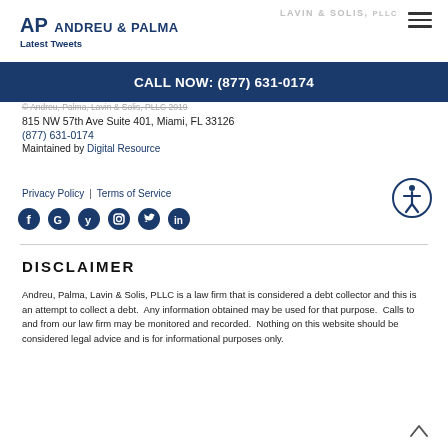AP ANDREU & PALMA | LAVIN & SOLIS, PLLC — Latest Tweets
CALL NOW: (877) 631-0174
© Andreu, Palma, Lavin & Solis, PLLC 2019
815 NW 57th Ave Suite 401, Miami, FL 33126
(877) 631-0174
Maintained by Digital Resource
Privacy Policy | Terms of Service
DISCLAIMER
Andreu, Palma, Lavin & Solis, PLLC is a law firm that is considered a debt collector and this is an attempt to collect a debt.  Any information obtained may be used for that purpose.  Calls to and from our law firm may be monitored and recorded.  Nothing on this website should be considered legal advice and is for informational purposes only.